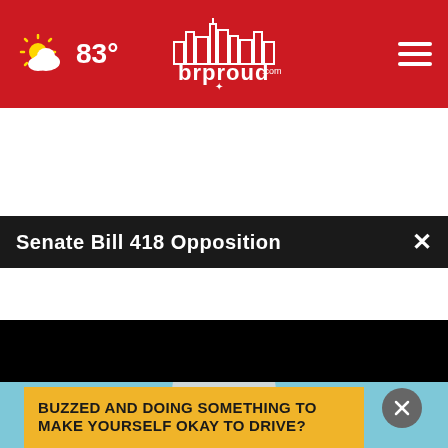brproud.com — 83°
Senate Bill 418 Opposition
[Figure (screenshot): Black video player area showing a paused video with progress bar at start (00:00), play button, mute button, closed-caption button, and fullscreen button]
[Figure (photo): Bottom advertisement image with blue background showing moon/ball graphic, a circular close button, and yellow text box reading: BUZZED AND DOING SOMETHING TO MAKE YOURSELF OKAY TO DRIVE?]
BUZZED AND DOING SOMETHING TO MAKE YOURSELF OKAY TO DRIVE?